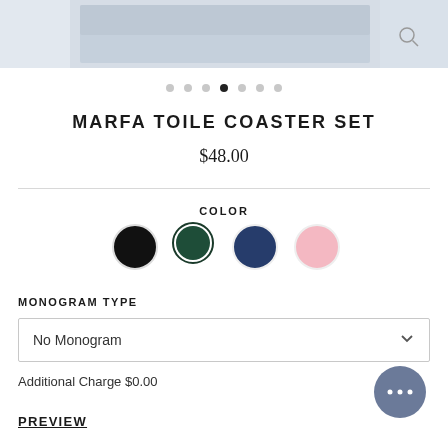[Figure (photo): Product image strip at top of page showing a blue toile coaster set]
● ● ● ● ● ● ●  (pagination dots, 4th active)
MARFA TOILE COASTER SET
$48.00
COLOR
Color swatches: black, dark green (selected), navy, pink
MONOGRAM TYPE
No Monogram
Additional Charge $0.00
PREVIEW